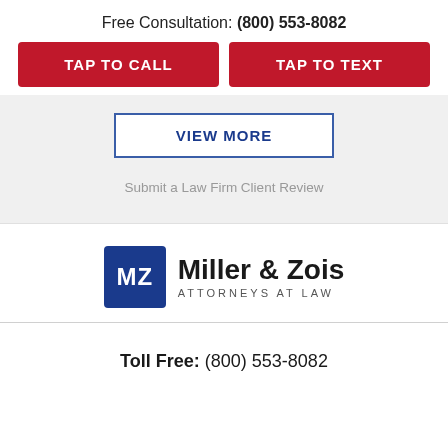Free Consultation: (800) 553-8082
TAP TO CALL
TAP TO TEXT
VIEW MORE
Submit a Law Firm Client Review
[Figure (logo): Miller & Zois Attorneys at Law logo with MZ monogram in blue box]
Toll Free: (800) 553-8082